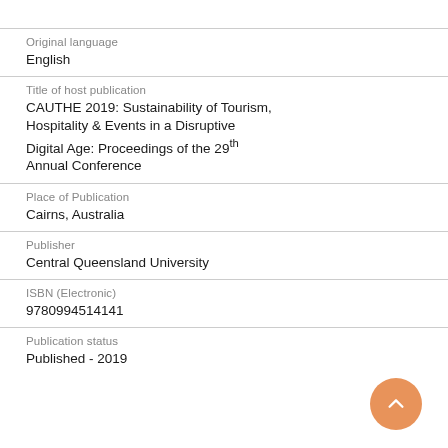Original language
English
Title of host publication
CAUTHE 2019: Sustainability of Tourism, Hospitality & Events in a Disruptive Digital Age: Proceedings of the 29th Annual Conference
Place of Publication
Cairns, Australia
Publisher
Central Queensland University
ISBN (Electronic)
9780994514141
Publication status
Published - 2019